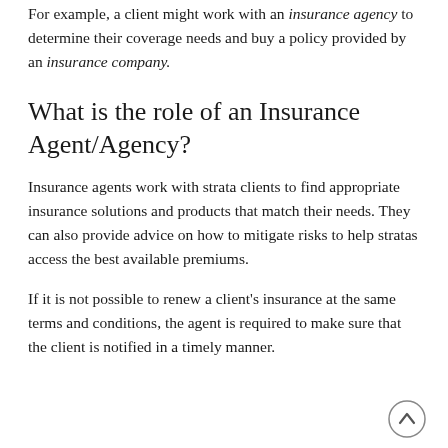For example, a client might work with an insurance agency to determine their coverage needs and buy a policy provided by an insurance company.
What is the role of an Insurance Agent/Agency?
Insurance agents work with strata clients to find appropriate insurance solutions and products that match their needs. They can also provide advice on how to mitigate risks to help stratas access the best available premiums.
If it is not possible to renew a client’s insurance at the same terms and conditions, the agent is required to make sure that the client is notified in a timely manner.